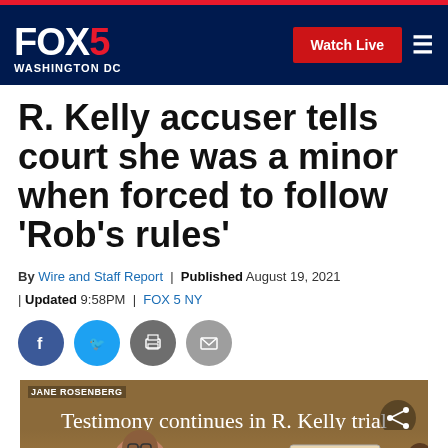FOX 5 WASHINGTON DC | Watch Live
R. Kelly accuser tells court she was a minor when forced to follow 'Rob's rules'
By Wire and Staff Report | Published August 19, 2021 | Updated 9:58PM | FOX 5 NY
[Figure (screenshot): Courtroom sketch showing testimony in R. Kelly trial, with Jane Rosenberg credited. Caption overlay reads 'Testimony continues in R. Kelly trial' with a share icon.]